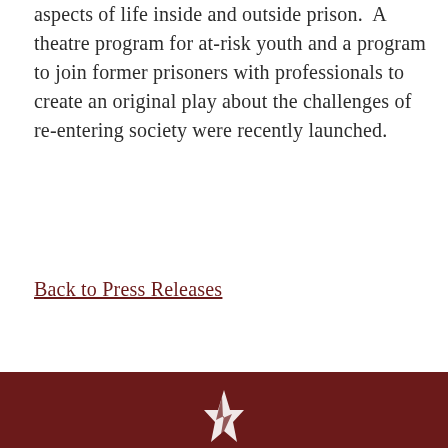aspects of life inside and outside prison.  A theatre program for at-risk youth and a program to join former prisoners with professionals to create an original play about the challenges of re-entering society were recently launched.
Back to Press Releases
[Figure (logo): White star/lightning bolt logo on dark red footer bar]